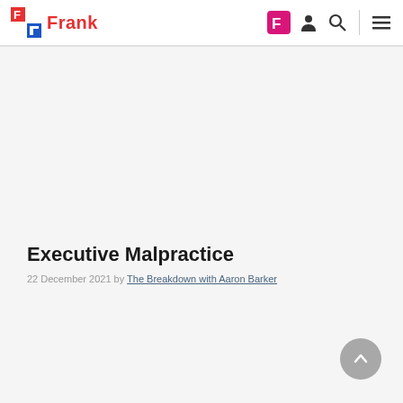Frank — The Breakdown with Aaron Barker
Executive Malpractice
22 December 2021 by The Breakdown with Aaron Barker